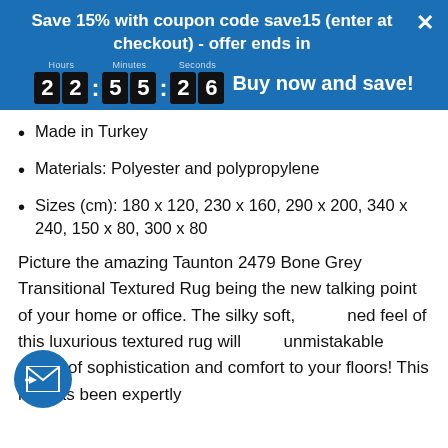Save 15% with coupon code save15 (enter at checkout) - offer ends in
22:55:26  Buy now and save!
Made in Turkey
Materials: Polyester and polypropylene
Sizes (cm): 180 x 120, 230 x 160, 290 x 200, 340 x 240, 150 x 80, 300 x 80
Picture the amazing Taunton 2479 Bone Grey Transitional Textured Rug being the new talking point of your home or office. The silky soft, refined feel of this luxurious textured rug will unmistakable sense of sophistication and comfort to your floors! This rug has been expertly